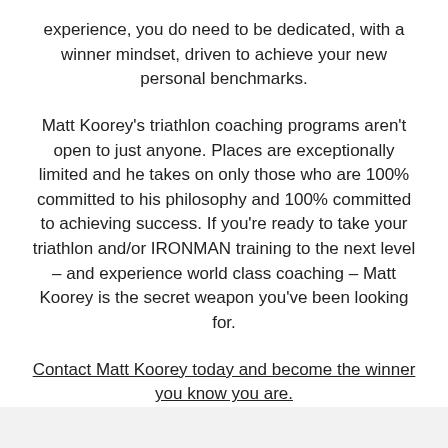experience, you do need to be dedicated, with a winner mindset, driven to achieve your new personal benchmarks.
Matt Koorey's triathlon coaching programs aren't open to just anyone. Places are exceptionally limited and he takes on only those who are 100% committed to his philosophy and 100% committed to achieving success. If you're ready to take your triathlon and/or IRONMAN training to the next level – and experience world class coaching – Matt Koorey is the secret weapon you've been looking for.
Contact Matt Koorey today and become the winner you know you are.